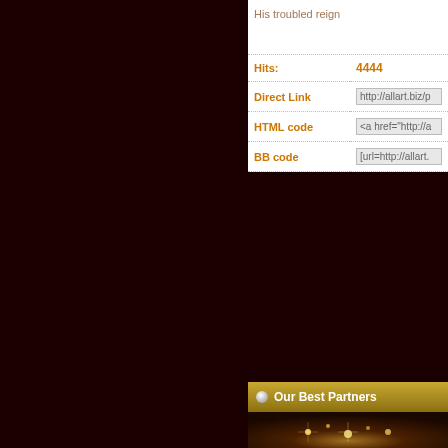His troubled reign
| Label | Value |
| --- | --- |
| Hits: | 4444 |
| Direct Link | http://allart.biz/p |
| HTML code | <a href="http://a |
| BB code | [url=http://allart. |
« Goback
Our Best Partners
[Figure (photo): Dark background with golden sparkle light effects at the bottom strip]